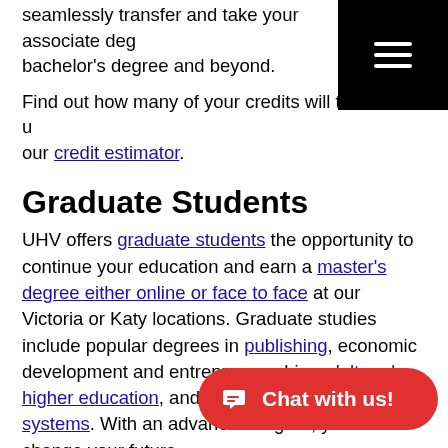seamlessly transfer and take your associate degree, bachelor's degree and beyond.
Find out how many of your credits will transfer using our credit estimator.
Graduate Students
UHV offers graduate students the opportunity to continue your education and earn a master's degree either online or face to face at our Victoria or Katy locations. Graduate studies include popular degrees in publishing, economic development and entrepreneurship, adult and higher education, and computer information systems. With an advanced degree, you can change your future.
International Students
International students have a... more about Texas and the U.... at our Victoria or Katy locations. UHV is authorized...